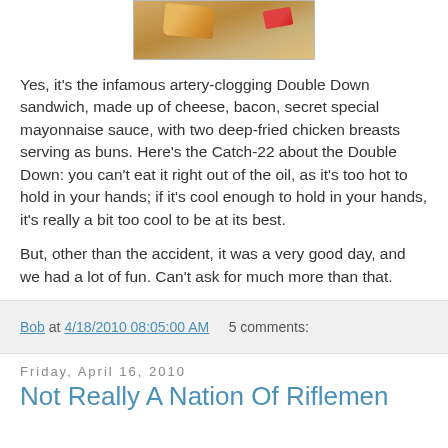[Figure (photo): Photo of a Double Down sandwich from KFC on a table, with the red KFC wrapper visible]
Yes, it's the infamous artery-clogging Double Down sandwich, made up of cheese, bacon, secret special mayonnaise sauce, with two deep-fried chicken breasts serving as buns. Here's the Catch-22 about the Double Down: you can't eat it right out of the oil, as it's too hot to hold in your hands; if it's cool enough to hold in your hands, it's really a bit too cool to be at its best.
But, other than the accident, it was a very good day, and we had a lot of fun. Can't ask for much more than that.
Bob at 4/18/2010 08:05:00 AM    5 comments:
Friday, April 16, 2010
Not Really A Nation Of Riflemen